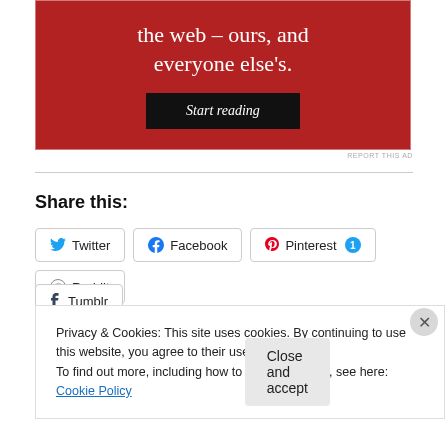[Figure (other): Red advertisement banner with white serif text reading 'the web – ours, and everyone else's.' and a black 'Start reading' button]
REPORT THIS AD
Share this:
Twitter Facebook Pinterest 1 Reddit
Tumblr
Privacy & Cookies: This site uses cookies. By continuing to use this website, you agree to their use.
To find out more, including how to control cookies, see here: Cookie Policy
Close and accept